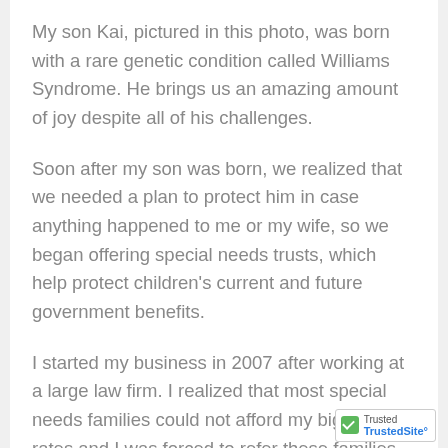My son Kai, pictured in this photo, was born with a rare genetic condition called Williams Syndrome. He brings us an amazing amount of joy despite all of his challenges.
Soon after my son was born, we realized that we needed a plan to protect him in case anything happened to me or my wife, so we began offering special needs trusts, which help protect children's current and future government benefits.
I started my business in 2007 after working at a large law firm. I realized that most special needs families could not afford my big firm rates and I was forced to refer these families to small firm attorneys that did not